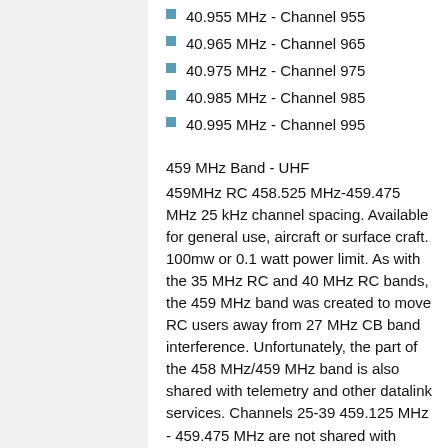40.955 MHz - Channel 955
40.965 MHz - Channel 965
40.975 MHz - Channel 975
40.985 MHz - Channel 985
40.995 MHz - Channel 995
459 MHz Band - UHF
459MHz RC 458.525 MHz-459.475 MHz 25 kHz channel spacing. Available for general use, aircraft or surface craft. 100mw or 0.1 watt power limit. As with the 35 MHz RC and 40 MHz RC bands, the 459 MHz band was created to move RC users away from 27 MHz CB band interference. Unfortunately, the part of the 458 MHz/459 MHz band is also shared with telemetry and other datalink services. Channels 25-39 459.125 MHz - 459.475 MHz are not shared with telemetry services. Unlike the 2.4 GHz band, the clear channels available on the 459 MHz band offer line of sight range with minimal interference potential.
458.525 MHz - Channel 1